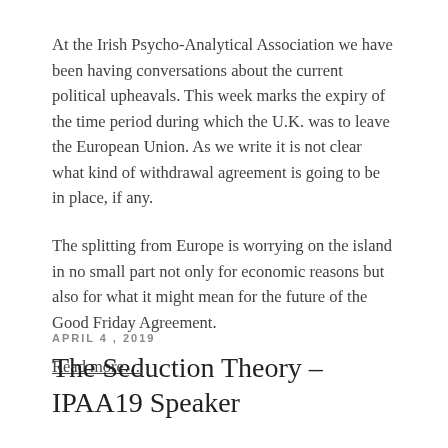At the Irish Psycho-Analytical Association we have been having conversations about the current political upheavals. This week marks the expiry of the time period during which the U.K. was to leave the European Union. As we write it is not clear what kind of withdrawal agreement is going to be in place, if any.
The splitting from Europe is worrying on the island in no small part not only for economic reasons but also for what it might mean for the future of the Good Friday Agreement.
Read more…
APRIL 4, 2019
The Seduction Theory – IPAA19 Speaker